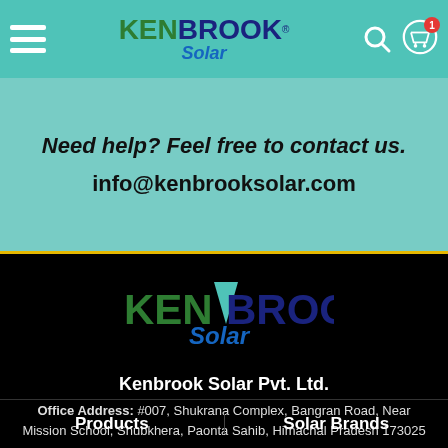[Figure (screenshot): Kenbrook Solar website screenshot showing navigation bar with hamburger menu, Kenbrook Solar logo, search icon, and cart icon with badge '1']
Need help? Feel free to contact us.
info@kenbrooksolar.com
[Figure (logo): Kenbrook Solar logo in footer - KEN in green, BROOK in dark blue, Solar in blue italic]
Kenbrook Solar Pvt. Ltd.
Office Address: #007, Shukrana Complex, Bangran Road, Near Mission School, Shubkhera, Paonta Sahib, Himachal Pradesh 173025
Products
Solar Brands